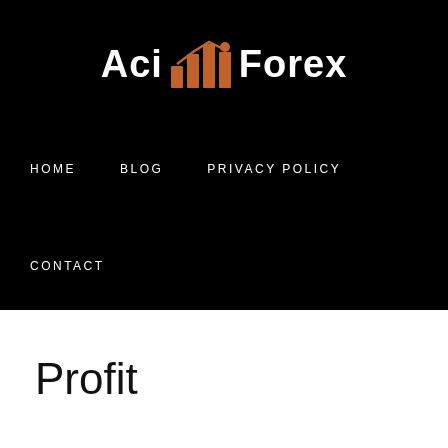[Figure (logo): Aci Forex logo with bar chart icon in orange/white on black background]
HOME   BLOG   PRIVACY POLICY
CONTACT
Profit